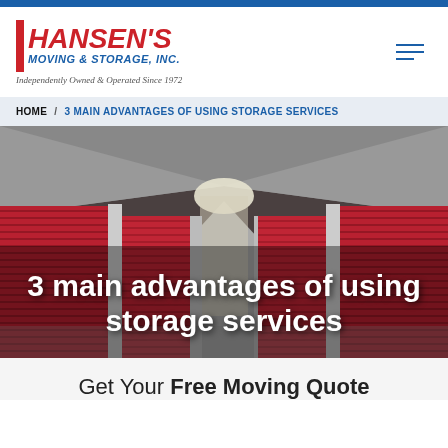[Figure (logo): Hansen's Moving & Storage, Inc. logo with red bar and italic red text. Tagline: Independently Owned & Operated Since 1972]
HOME / 3 MAIN ADVANTAGES OF USING STORAGE SERVICES
[Figure (photo): Interior corridor of a storage facility with red roll-up doors lining both sides, perspective view toward a lit background.]
3 main advantages of using storage services
Get Your Free Moving Quote